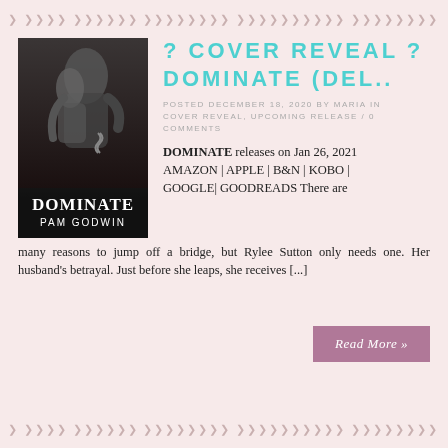decorative border pattern
[Figure (photo): Book cover for DOMINATE by PAM GODWIN, dark background with couple embracing, chains visible]
? COVER REVEAL ? DOMINATE (DEL..
POSTED DECEMBER 18, 2020 BY MARIA IN COVER REVEAL, UPCOMING RELEASE / 0 COMMENTS
DOMINATE releases on Jan 26, 2021 AMAZON | APPLE | B&N | KOBO | GOOGLE| GOODREADS There are many reasons to jump off a bridge, but Rylee Sutton only needs one. Her husband's betrayal. Just before she leaps, she receives [...]
Read More »
decorative border pattern